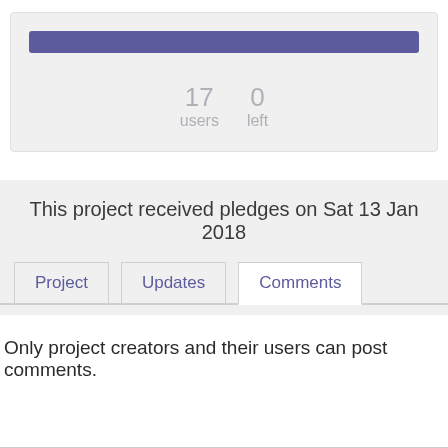[Figure (infographic): Progress bar showing 100% fill with purple/blue color, with stats showing 17 users and 0 left below it]
17   0
users   left
This project received pledges on Sat 13 Jan 2018
Project   Updates   Comments
Only project creators and their users can post comments.